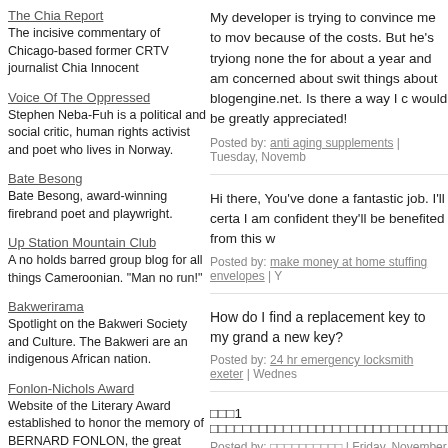The Chia Report
The incisive commentary of Chicago-based former CRTV journalist Chia Innocent
Voice Of The Oppressed
Stephen Neba-Fuh is a political and social critic, human rights activist and poet who lives in Norway.
Bate Besong
Bate Besong, award-winning firebrand poet and playwright.
Up Station Mountain Club
A no holds barred group blog for all things Cameroonian. "Man no run!"
Bakwerirama
Spotlight on the Bakweri Society and Culture. The Bakweri are an indigenous African nation.
Fonlon-Nichols Award
Website of the Literary Award established to honor the memory of BERNARD FONLON, the great Cameroonian teacher, writer, poet, and philosopher, who passionately defended human rights in an often oppressive political atmosphere.
Bernard Fonlon
Dr Bernard Fonlon was an extraordinary figure who left a large footprint in Cameroonian intellectual, social and political life.
AFRICAphonie
AFRICAphonie is a Pan African Association which operates on the
My developer is trying to convince me to move because of the costs. But he's tryiong none the for about a year and am concerned about switching things about blogengine.net. Is there a way I could would be greatly appreciated!
Posted by: anti aging supplements | Tuesday, Novemb
Hi there, You've done a fantastic job. I'll certa I am confident they'll be benefited from this w
Posted by: make money at home stuffing envelopes | Y
How do I find a replacement key to my grand a new key?
Posted by: 24 hr emergency locksmith exeter | Wednes
□□□1 □□□□□□□□□□□□□□□□□□□□□□□□□□□□□□□□□□□□□□□
Posted by: □□□□□□□□□□ | Friday, November 15, 2013 at
□□□□2007□□□□□□□□□□□□□□□□□□□□□□□□□□□□□□□□□□□□□□